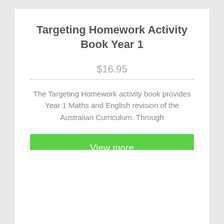Targeting Homework Activity Book Year 1
$16.95
The Targeting Homework activity book provides Year 1 Maths and English revision of the Australian Curriculum. Through
View more